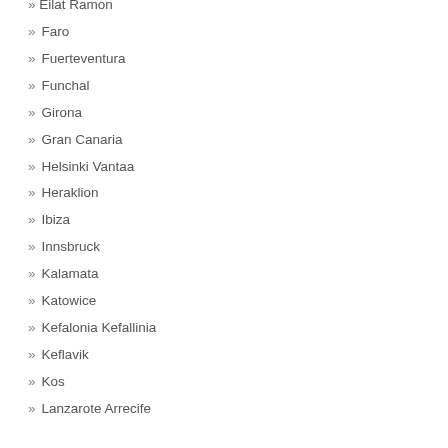» Eilat Ramon
» Faro
» Fuerteventura
» Funchal
» Girona
» Gran Canaria
» Helsinki Vantaa
» Heraklion
» Ibiza
» Innsbruck
» Kalamata
» Katowice
» Kefalonia Kefallinia
» Keflavik
» Kos
» Lanzarote Arrecife